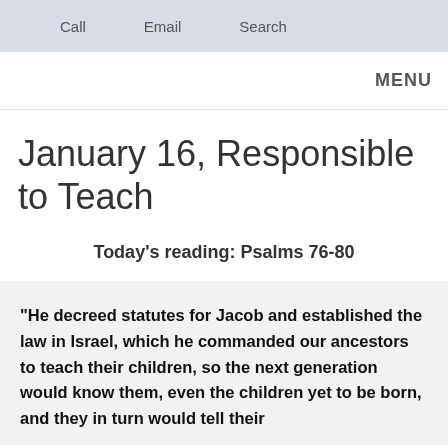Call   Email   Search
MENU
January 16, Responsible to Teach
Today's reading: Psalms 76-80
“He decreed statutes for Jacob and established the law in Israel, which he commanded our ancestors to teach their children, so the next generation would know them, even the children yet to be born, and they in turn would tell their